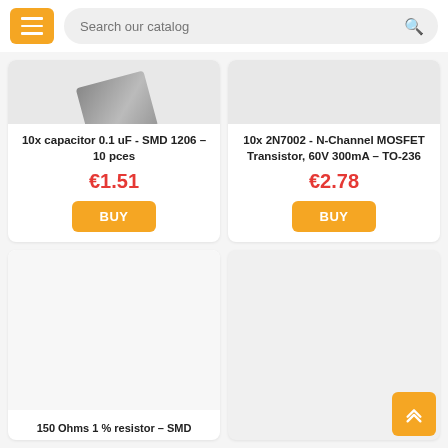[Figure (screenshot): E-commerce product catalog page showing electronic components for sale. Header with orange menu button and search bar. Two product cards visible at top (capacitor and MOSFET transistor) with prices and buy buttons. Two more product cards partially visible at bottom.]
10x capacitor 0.1 uF - SMD 1206 – 10 pces
€1.51
BUY
10x 2N7002 - N-Channel MOSFET Transistor, 60V 300mA – TO-236
€2.78
BUY
150 Ohms 1 % resistor – SMD